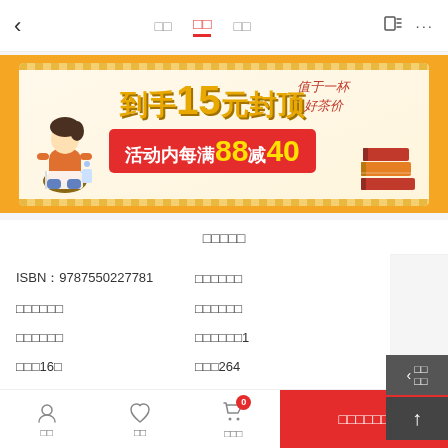〈  □□  □□  □□  ⬡ ···
[Figure (illustration): Promotional banner: orange background with cream inner panel. Text reads '到手15元封顶' and '活动内每满88减40'. Decorative girl reading on left, books stack on right, handwritten text top right.]
□□□□□
| ISBN：9787550227781 | □□□□□□ |
| □□□□□□ | □□□□□□ |
| □□□□□□ | □□□□□□1 |
| □□□16□ | □□□264 |
□□  □□  购物车 0  □□□□□□